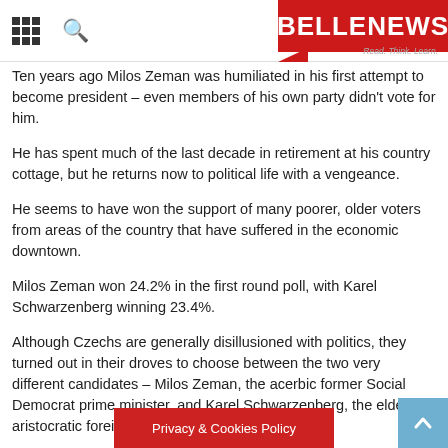BELLENEWS — Read. Think. Learn.
Ten years ago Milos Zeman was humiliated in his first attempt to become president – even members of his own party didn't vote for him.
He has spent much of the last decade in retirement at his country cottage, but he returns now to political life with a vengeance.
He seems to have won the support of many poorer, older voters from areas of the country that have suffered in the economic downtown.
Milos Zeman won 24.2% in the first round poll, with Karel Schwarzenberg winning 23.4%.
Although Czechs are generally disillusioned with politics, they turned out in their droves to choose between the two very different candidates – Milos Zeman, the acerbic former Social Democrat prime minister, and Karel Schwarzenberg, the elderly, aristocratic foreign minister.
Privacy & Cookies Policy